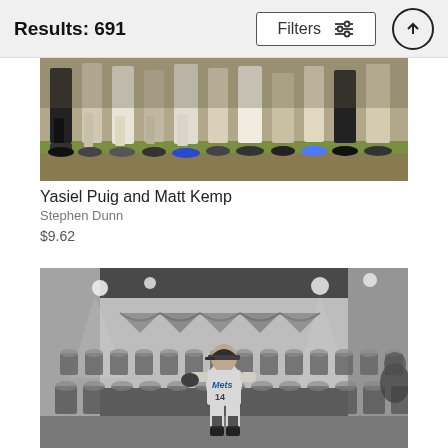Results: 691
[Figure (photo): Sports photo showing legs and feet of multiple players/people standing in a row on a baseball field]
Yasiel Puig and Matt Kemp
Stephen Dunn
$9.62
[Figure (photo): Black and white photo of a Mets player wearing number 14 sitting alone among rows of empty folding chairs in what appears to be a locker room or press room]